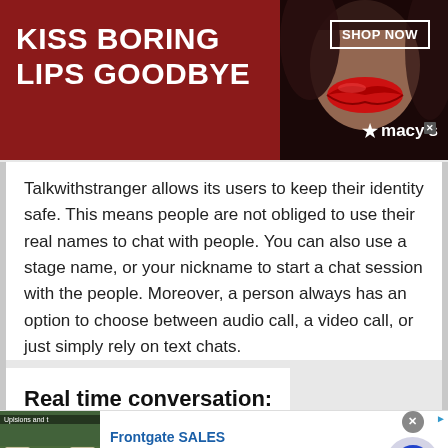[Figure (screenshot): Top banner advertisement for Macy's: dark red background with text 'KISS BORING LIPS GOODBYE', a woman's face showing red lips in the center, 'SHOP NOW' button on the right, and Macy's star logo at bottom right.]
Talkwithstranger allows its users to keep their identity safe. This means people are not obliged to use their real names to chat with people. You can also use a stage name, or your nickname to start a chat session with the people. Moreover, a person always has an option to choose between audio call, a video call, or just simply rely on text chats.
Real time conversation:
[Figure (screenshot): Bottom advertisement: Frontgate SALES, up to 50% off, frontgate.com. Shows outdoor furniture image on the left, navigation arrow button on the right.]